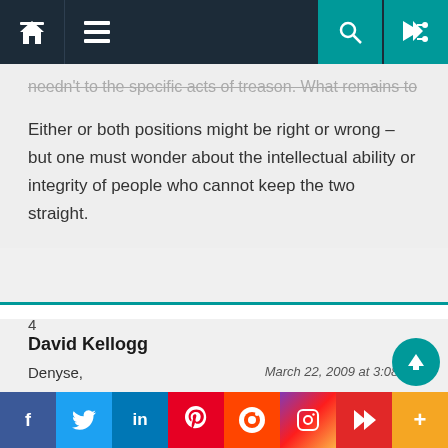Navigation bar with home, menu, search, and shuffle icons
needn't to the specific acts of treason. What remains to be determined.
Either or both positions might be right or wrong – but one must wonder about the intellectual ability or integrity of people who cannot keep the two straight.
4
David Kellogg
Denyse,
March 22, 2009 at 3:08 pm
DaVinci Code appeals to people who have a
Social sharing bar: Facebook, Twitter, LinkedIn, Pinterest, Reddit, Instagram, Flipboard, More